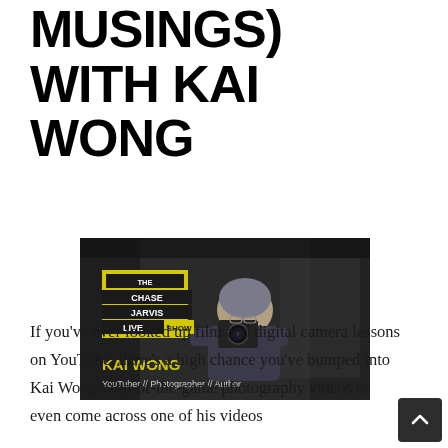MUSINGS) WITH KAI WONG
[Figure (photo): The Chase Jarvis Live Show thumbnail featuring Kai Wong holding a camera, described as YouTuber // Photographer // Author, in an urban tunnel setting with graffiti]
If you've ever looked up film and digital camera lessons on YouTube, there's a high chance you've bumped into Kai Wong's top-of-the-game photography videos or even come across one of his videos